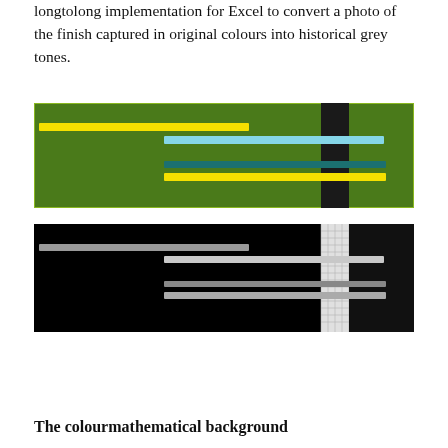longtolong implementation for Excel to convert a photo of the finish captured in original colours into historical grey tones.
[Figure (photo): A green background image showing horizontal coloured bars (yellow, light blue, teal, yellow) across a dark green field with a dark vertical stripe near the right side, bordered with a thin yellow-green outline.]
[Figure (photo): A black background image showing horizontal grey bars of varying brightness across a black field with a gridded white/grey vertical stripe near the right side, representing a greyscale conversion of the upper image.]
The colourmathematical background